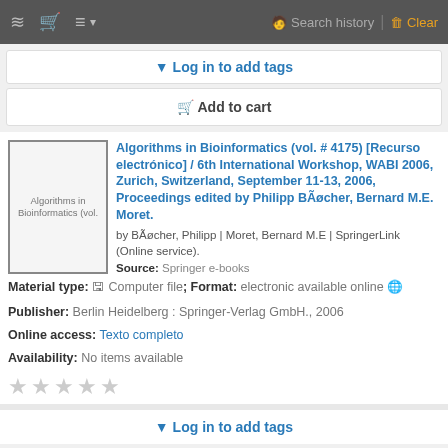Search history | Clear
Log in to add tags
Add to cart
[Figure (illustration): Book cover thumbnail showing text: Algorithms in Bioinformatics (vol.]
Algorithms in Bioinformatics (vol. # 4175) [Recurso electrónico] / 6th International Workshop, WABI 2006, Zurich, Switzerland, September 11-13, 2006, Proceedings edited by Philipp BÃøcher, Bernard M.E. Moret.
by BÃøcher, Philipp | Moret, Bernard M.E | SpringerLink (Online service).
Source: Springer e-books
Material type: Computer file; Format: electronic available online
Publisher: Berlin Heidelberg : Springer-Verlag GmbH., 2006
Online access: Texto completo
Availability: No items available
★ ★ ★ ★ ★
Log in to add tags